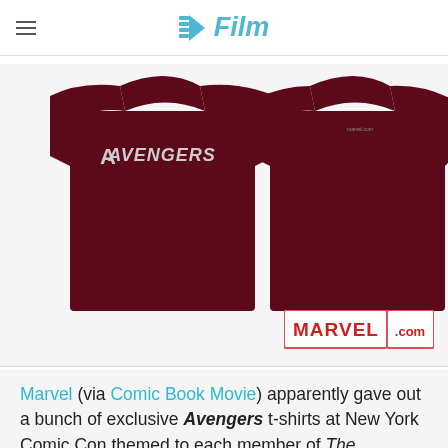/Film
[Figure (photo): Two dark maroon Avengers t-shirts shown front and back. The front shirt has the Avengers logo on the chest. A Marvel.com logo badge is shown in the bottom right corner of the image.]
Marvel (via Comic Book Movie) apparently gave out a bunch of exclusive Avengers t-shirts at New York Comic Con themed to each member of The Avengers, including a specific symbol. That's Hawkeye above, click on the links for the rest of the team.